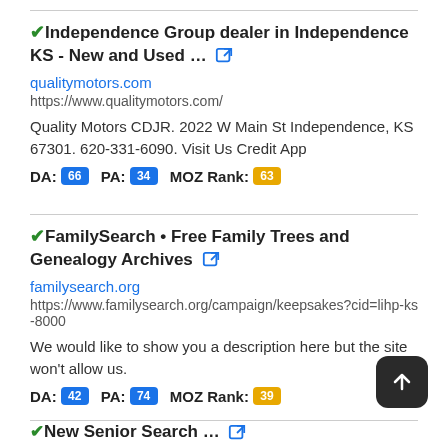✔Independence Group dealer in Independence KS - New and Used … 🔗
qualitymotors.com
https://www.qualitymotors.com/
Quality Motors CDJR. 2022 W Main St Independence, KS 67301. 620-331-6090. Visit Us Credit App
DA: 66 PA: 34 MOZ Rank: 63
✔FamilySearch • Free Family Trees and Genealogy Archives 🔗
familysearch.org
https://www.familysearch.org/campaign/keepsakes?cid=lihp-ks-8000
We would like to show you a description here but the site won't allow us.
DA: 42 PA: 74 MOZ Rank: 39